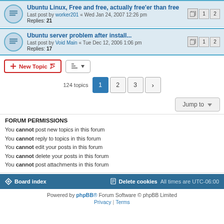Ubuntu Linux, Free and free, actually free'er than free — Last post by worker201 « Wed Jan 24, 2007 12:26 pm — Replies: 21
Ubuntu server problem after install... — Last post by Void Main « Tue Dec 12, 2006 1:06 pm — Replies: 17
New Topic | sort button
124 topics  1  2  3  >
Jump to
FORUM PERMISSIONS
You cannot post new topics in this forum
You cannot reply to topics in this forum
You cannot edit your posts in this forum
You cannot delete your posts in this forum
You cannot post attachments in this forum
Board index  |  Delete cookies  |  All times are UTC-06:00
Powered by phpBB® Forum Software © phpBB Limited  |  Privacy  |  Terms